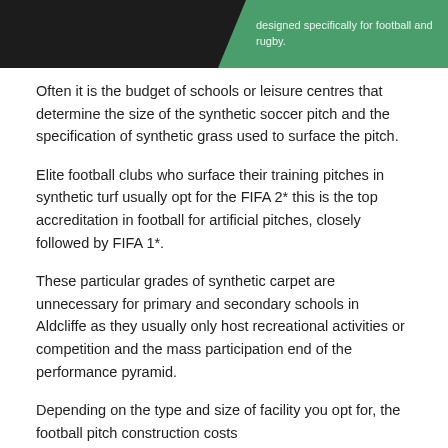[Figure (photo): Dark background image with green diagonal banner overlay containing text 'designed specifically for football and rugby.']
Often it is the budget of schools or leisure centres that determine the size of the synthetic soccer pitch and the specification of synthetic grass used to surface the pitch.
Elite football clubs who surface their training pitches in synthetic turf usually opt for the FIFA 2* this is the top accreditation in football for artificial pitches, closely followed by FIFA 1*.
These particular grades of synthetic carpet are unnecessary for primary and secondary schools in Aldcliffe as they usually only host recreational activities or competition and the mass participation end of the performance pyramid.
Depending on the type and size of facility you opt for, the football pitch construction costs http://www.artificialfootballpitch.org.uk/build-costs/lancashire/aldcliffe/ will be different, so we recommend that you decide on a rough budget beforehand.
What type of Pitch?